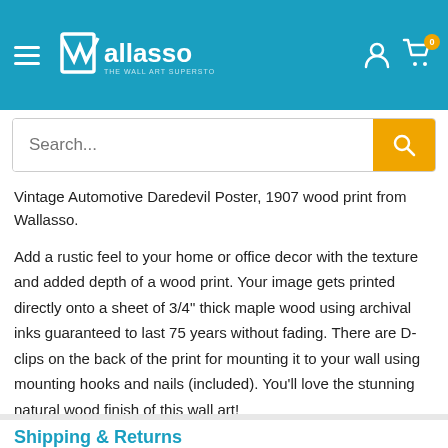Wallasso — The Wall Art Superstore
Vintage Automotive Daredevil Poster, 1907 wood print from Wallasso.
Add a rustic feel to your home or office decor with the texture and added depth of a wood print. Your image gets printed directly onto a sheet of 3/4" thick maple wood using archival inks guaranteed to last 75 years without fading. There are D-clips on the back of the print for mounting it to your wall using mounting hooks and nails (included). You'll love the stunning natural wood finish of this wall art!
Shipping & Returns